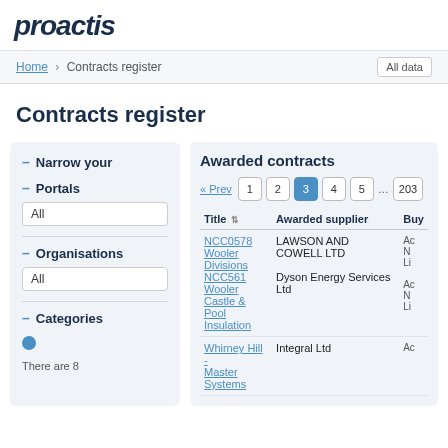proactis
Home > Contracts register   All data
Contracts register
Narrow your
Portals
All
Organisations
All
Categories
There are 8
Awarded contracts
« Prev  1  2  3  4  5  ...  203
| Title | Awarded supplier | Buy |
| --- | --- | --- |
| NCC0578 Wooler Divisions NCC561 Wooler Castle & Pool Insulation | LAWSON AND COWELL LTD | Ac N Li |
| Whirney Hill - Master Systems | Integral Ltd | Ac |